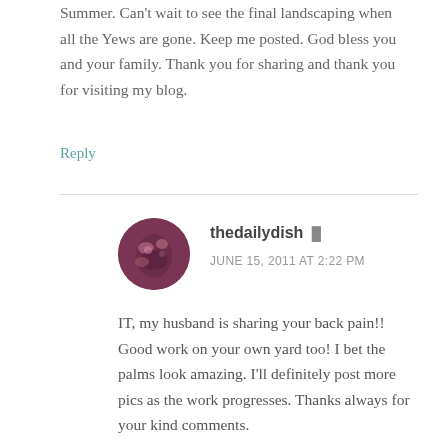Summer. Can't wait to see the final landscaping when all the Yews are gone. Keep me posted. God bless you and your family. Thank you for sharing and thank you for visiting my blog.
Reply
thedailydish
JUNE 15, 2011 AT 2:22 PM
IT, my husband is sharing your back pain!! Good work on your own yard too! I bet the palms look amazing. I'll definitely post more pics as the work progresses. Thanks always for your kind comments.